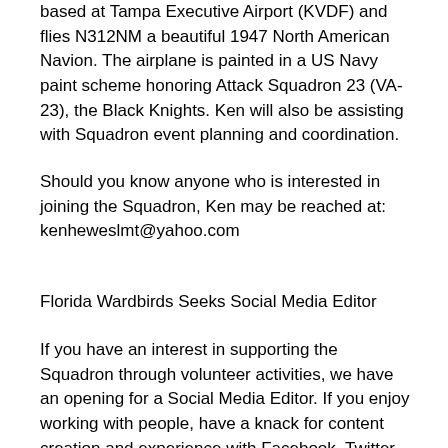based at Tampa Executive Airport (KVDF) and flies N312NM a beautiful 1947 North American Navion. The airplane is painted in a US Navy paint scheme honoring Attack Squadron 23 (VA-23), the Black Knights. Ken will also be assisting with Squadron event planning and coordination.
Should you know anyone who is interested in joining the Squadron, Ken may be reached at: kenheweslmt@yahoo.com
Florida Wardbirds Seeks Social Media Editor
If you have an interest in supporting the Squadron through volunteer activities, we have an opening for a Social Media Editor. If you enjoy working with people, have a knack for content creation and experience with Facebook, Twitter, YouTube,